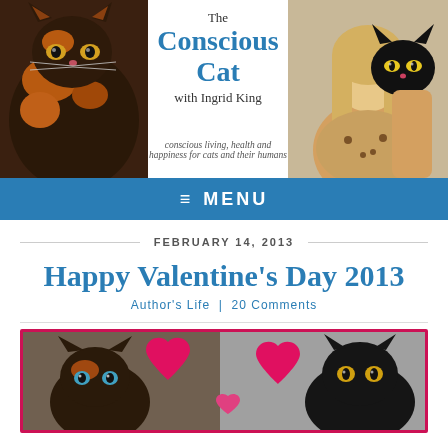[Figure (photo): The Conscious Cat blog header with tortoiseshell cat on left, blog logo in center reading 'The Conscious Cat with Ingrid King', tagline 'conscious living, health and happiness for cats and their humans', and woman holding black cat on right]
≡  MENU
FEBRUARY 14, 2013
Happy Valentine's Day 2013
Author's Life  |  20 Comments
[Figure (photo): Valentine's Day card image showing two cats (a tortoiseshell cat with blue eyes on the left and a black cat on the right) with large red/pink heart graphics between them, framed in a red border]